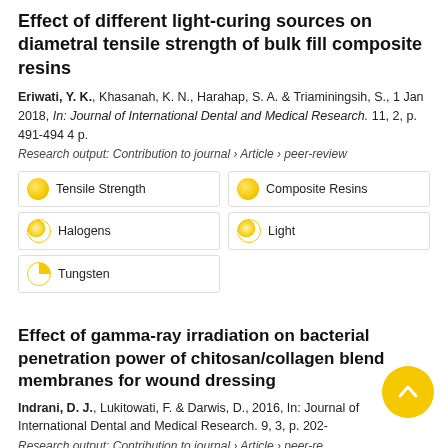Effect of different light-curing sources on diametral tensile strength of bulk fill composite resins
Eriwati, Y. K., Khasanah, K. N., Harahap, S. A. & Triaminingsih, S., 1 Jan 2018, In: Journal of International Dental and Medical Research. 11, 2, p. 491-494 4 p.
Research output: Contribution to journal › Article › peer-review
Tensile Strength
Composite Resins
Halogens
Light
Tungsten
Effect of gamma-ray irradiation on bacterial penetration power of chitosan/collagen blend membranes for wound dressing
Indrani, D. J., Lukitowati, F. & Darwis, D., 2016, In: Journal of International Dental and Medical Research. 9, 3, p. 202-
Research output: Contribution to journal › Article › peer-re
Gamma Rays
Chitosan